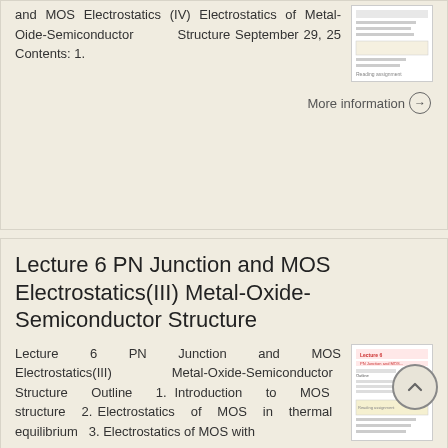and MOS Electrostatics (IV) Electrostatics of Metal-Oide-Semiconductor Structure September 29, 25 Contents: 1.
More information →
Lecture 6 PN Junction and MOS Electrostatics(III) Metal-Oxide-Semiconductor Structure
Lecture 6 PN Junction and MOS Electrostatics(III) Metal-Oxide-Semiconductor Structure Outline 1. Introduction to MOS structure 2. Electrostatics of MOS in thermal equilibrium 3. Electrostatics of MOS with
[Figure (screenshot): Thumbnail image of lecture slide showing text and a table]
More information →
ESE 570: Digital Integrated Circuits and VLSI